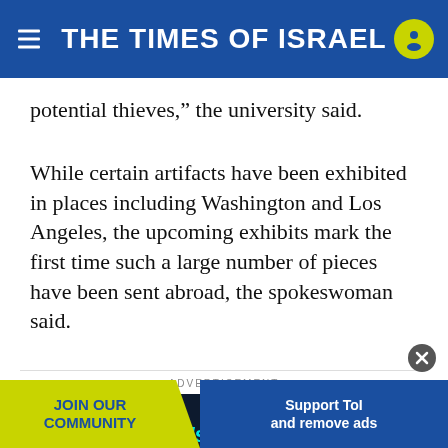THE TIMES OF ISRAEL
potential thieves," the university said.
While certain artifacts have been exhibited in places including Washington and Los Angeles, the upcoming exhibits mark the first time such a large number of pieces have been sent abroad, the spokeswoman said.
ADVERTISEMENT
[Figure (infographic): Advertisement for InfinityLabs R&D: 'This time next year in Israel with a career in high-tech']
JOIN OUR COMMUNITY
Support ToI and remove ads